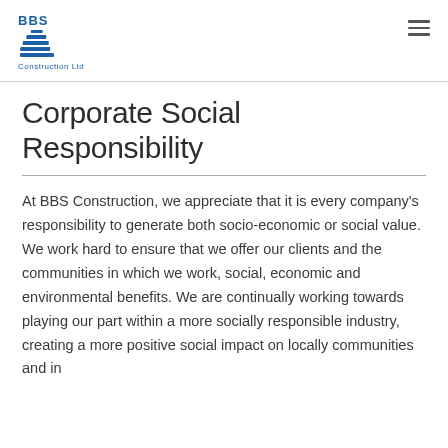BBS Construction Ltd
Corporate Social Responsibility
At BBS Construction, we appreciate that it is every company's responsibility to generate both socio-economic or social value. We work hard to ensure that we offer our clients and the communities in which we work, social, economic and environmental benefits. We are continually working towards playing our part within a more socially responsible industry, creating a more positive social impact on locally communities and in